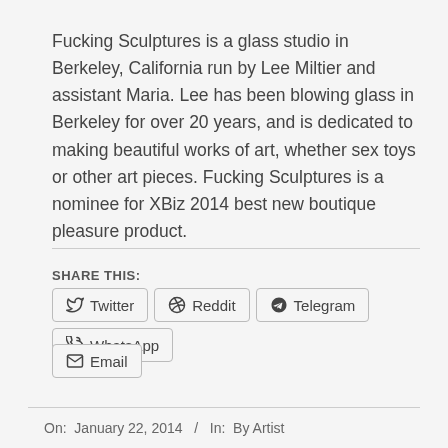Fucking Sculptures is a glass studio in Berkeley, California run by Lee Miltier and assistant Maria. Lee has been blowing glass in Berkeley for over 20 years, and is dedicated to making beautiful works of art, whether sex toys or other art pieces. Fucking Sculptures is a nominee for XBiz 2014 best new boutique pleasure product.
SHARE THIS:
Twitter
Reddit
Telegram
WhatsApp
Email
On: January 22, 2014  /  In: By Artist